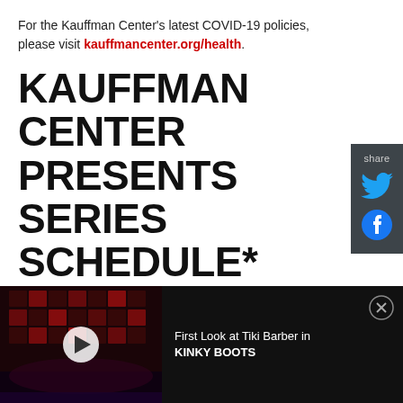For the Kauffman Center's latest COVID-19 policies, please visit kauffmancenter.org/health.
KAUFFMAN CENTER PRESENTS SERIES SCHEDULE*
The Kauffman Center Presents series features extraordinary and diverse artists from a variety of musical genres and performance styles. Upcoming events include:
[Figure (screenshot): Share sidebar with Twitter and Facebook icons on a dark gray background]
[Figure (screenshot): Video bar at bottom: thumbnail of stage with red lighting and a play button, caption reads 'First Look at Tiki Barber in KINKY BOOTS', with a close (X) button]
First Look at Tiki Barber in KINKY BOOTS